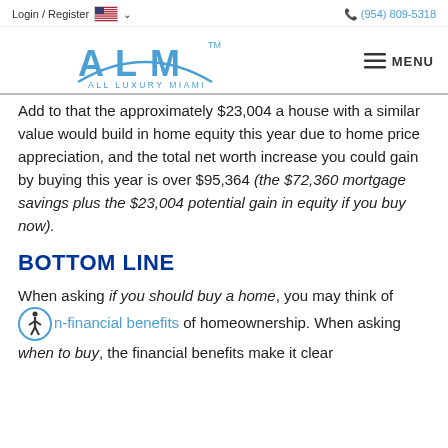Login / Register  (954) 809-5318
[Figure (logo): ALM All Luxury Miami logo with blue arc design and TM mark; MENU hamburger button on right]
Add to that the approximately $23,004 a house with a similar value would build in home equity this year due to home price appreciation, and the total net worth increase you could gain by buying this year is over $95,364 (the $72,360 mortgage savings plus the $23,004 potential gain in equity if you buy now).
BOTTOM LINE
When asking if you should buy a home, you may think of non-financial benefits of homeownership. When asking when to buy, the financial benefits make it clear